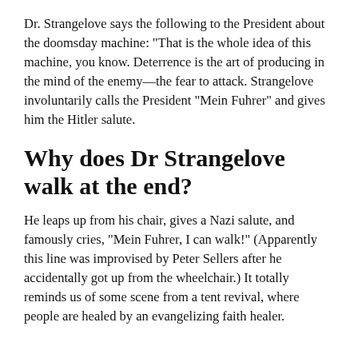Dr. Strangelove says the following to the President about the doomsday machine: "That is the whole idea of this machine, you know. Deterrence is the art of producing in the mind of the enemy—the fear to attack. Strangelove involuntarily calls the President "Mein Fuhrer" and gives him the Hitler salute.
Why does Dr Strangelove walk at the end?
He leaps up from his chair, gives a Nazi salute, and famously cries, "Mein Fuhrer, I can walk!" (Apparently this line was improvised by Peter Sellers after he accidentally got up from the wheelchair.) It totally reminds us of some scene from a tent revival, where people are healed by an evangelizing faith healer.